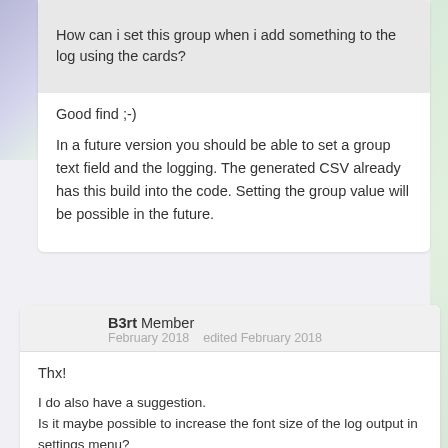How can i set this group when i add something to the log using the cards?
Good find ;-)
In a future version you should be able to set a group text field and the logging. The generated CSV already has this build into the code. Setting the group value will be possible in the future.
B3rt Member
February 2018   edited February 2018
Thx!

I do also have a suggestion.
Is it maybe possible to increase the font size of the log output in settings menu?